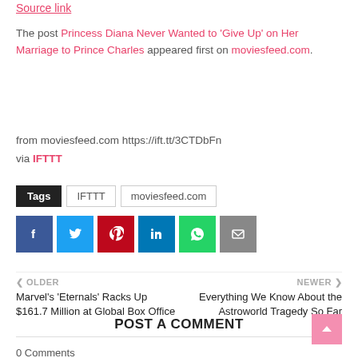Source link
The post Princess Diana Never Wanted to 'Give Up' on Her Marriage to Prince Charles appeared first on moviesfeed.com.
from moviesfeed.com https://ift.tt/3CTDbFn
via IFTTT
Tags  IFTTT  moviesfeed.com
[Figure (infographic): Social media sharing buttons: Facebook (blue), Twitter (light blue), Pinterest (red), LinkedIn (dark blue), WhatsApp (green), Email (gray)]
OLDER
Marvel's 'Eternals' Racks Up $161.7 Million at Global Box Office
NEWER
Everything We Know About the Astroworld Tragedy So Far
POST A COMMENT
0 Comments